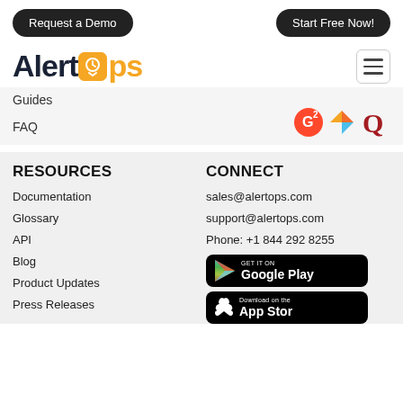[Figure (screenshot): AlertOps website navigation page showing buttons, logo, menu items, and footer with Resources and Connect sections]
Request a Demo
Start Free Now!
[Figure (logo): AlertOps logo with orange clock icon replacing the 'o' in 'ops']
Guides
FAQ
[Figure (illustration): G2, Capterra, and Quora review platform icons]
RESOURCES
CONNECT
Documentation
sales@alertops.com
Glossary
support@alertops.com
API
Phone: +1 844 292 8255
Blog
Product Updates
[Figure (other): GET IT ON Google Play badge]
Press Releases
[Figure (other): Download on the App Store badge]